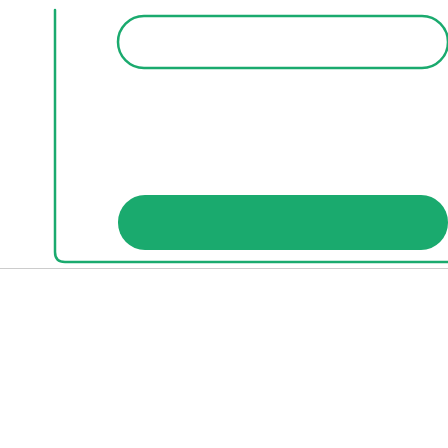[Figure (other): Partial bar chart cropped at the right edge, showing a teal/green outlined chart area with a single filled teal rounded horizontal bar near the bottom of the chart area.]
[Figure (logo): Rock Paper Shotgun logo in purple and green stylized text with icons. Tagline: PC gaming since 1873]
Explor...
Latest
News
Review...
Hardw...